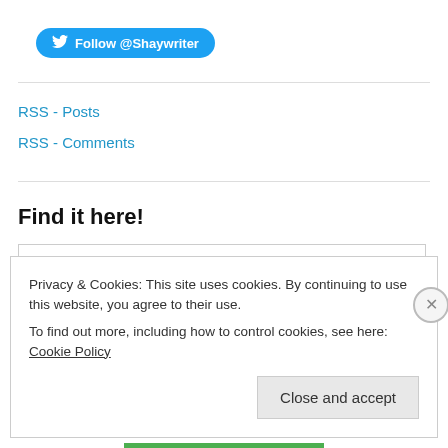[Figure (other): Twitter Follow button with bird icon, label: Follow @Shaywriter]
RSS - Posts
RSS - Comments
Find it here!
Search
Privacy & Cookies: This site uses cookies. By continuing to use this website, you agree to their use.
To find out more, including how to control cookies, see here: Cookie Policy
Close and accept